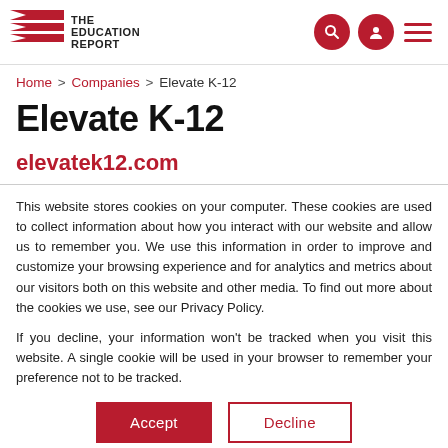The Education Report
Home > Companies > Elevate K-12
Elevate K-12
elevatek12.com
This website stores cookies on your computer. These cookies are used to collect information about how you interact with our website and allow us to remember you. We use this information in order to improve and customize your browsing experience and for analytics and metrics about our visitors both on this website and other media. To find out more about the cookies we use, see our Privacy Policy.
If you decline, your information won't be tracked when you visit this website. A single cookie will be used in your browser to remember your preference not to be tracked.